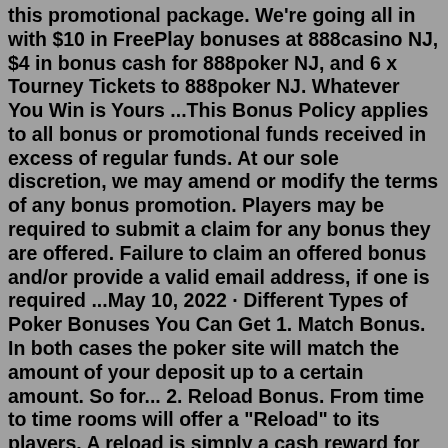this promotional package. We're going all in with $10 in FreePlay bonuses at 888casino NJ, $4 in bonus cash for 888poker NJ, and 6 x Tourney Tickets to 888poker NJ. Whatever You Win is Yours ...This Bonus Policy applies to all bonus or promotional funds received in excess of regular funds. At our sole discretion, we may amend or modify the terms of any bonus promotion. Players may be required to submit a claim for any bonus they are offered. Failure to claim an offered bonus and/or provide a valid email address, if one is required ...May 10, 2022 · Different Types of Poker Bonuses You Can Get 1. Match Bonus. In both cases the poker site will match the amount of your deposit up to a certain amount. So for... 2. Reload Bonus. From time to time rooms will offer a "Reload" to its players. A reload is simply a cash reward for a... 3. No Deposit ... The best poker, the best promotions – that's our goal at 888poker. Find the bonus, freeroll, or extra cash offer that is perfect for you! Welcome Bonus. Start playing with extra cash in your account with 888poker's 100% Welcome Bonus! Make your